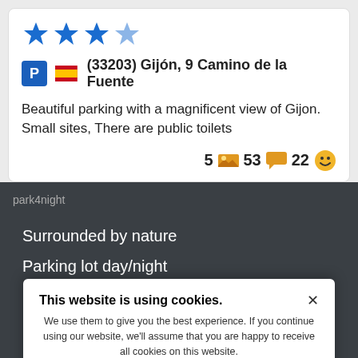[Figure (other): Four blue star rating icons]
(33203) Gijón, 9 Camino de la Fuente
Beautiful parking with a magnificent view of Gijon.
Small sites, There are public toilets
5  53  22
park4night
Surrounded by nature
Parking lot day/night
Rest area
Picnic area
Paying motorhome area
Private car park for campervans
This website is using cookies.
We use them to give you the best experience. If you continue using our website, we'll assume that you are happy to receive all cookies on this website.
Continue  Learn more